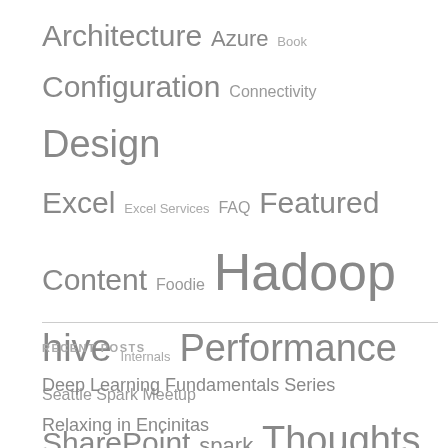[Figure (infographic): Tag cloud with words of varying sizes: Architecture, Azure, Book, Configuration, Connectivity, Design, Excel, Excel Services, FAQ, Featured Content, Foodie, Hadoop, hive, Internals, Performance, Seattle Spark Meetup, SharePoint, spark, Thoughts, Troubleshooting]
RECENT POSTS
Deep Learning Fundamentals Series
Relaxing in Encinitas